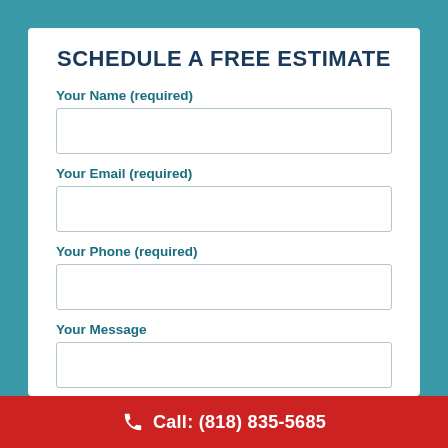SCHEDULE A FREE ESTIMATE
Your Name (required)
Your Email (required)
Your Phone (required)
Your Message
Call: (818) 835-5685